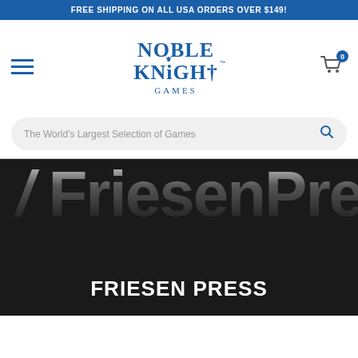FREE SHIPPING ON ALL USA ORDERS OVER $149!
[Figure (logo): Noble Knight Games logo — stylized text with knight cross]
The World's Largest Selection of Games
[Figure (screenshot): Hero banner showing large text 'Friesen Pres' (partially cropped) over dark gradient background]
FRIESEN PRESS